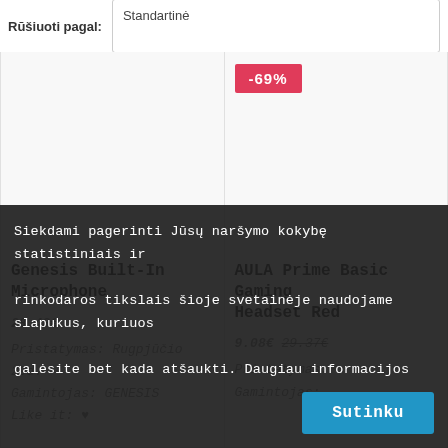Rūšiuoti pagal: Standartinė
-69%
Genesis Built-In Microphone
AULA Prime Basic Gaming Headset Red
28.48€
9.08€
Pristatymas: Rugpjūčio 29d.
Gamintojas: GENESIS
Like it: ♥
Pristatymas:
Gamintojas:
Siekdami pagerinti Jūsų naršymo kokybę statistiniais ir rinkodaros tikslais šioje svetainėje naudojame slapukus, kuriuos galėsite bet kada atšaukti. Daugiau informacijos
Sutinku